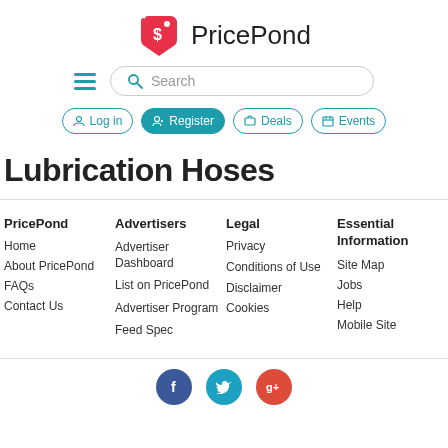[Figure (logo): PricePond logo with red price tag icon and PricePond text]
[Figure (screenshot): Search bar with hamburger menu icon on the left and a rounded search input]
[Figure (screenshot): Navigation buttons: Log in, Register (highlighted teal), Deals, Events]
Lubrication Hoses
PricePond
Home
About PricePond
FAQs
Contact Us
Advertisers
Advertiser Dashboard
List on PricePond
Advertiser Program
Feed Spec
Legal
Privacy
Conditions of Use
Disclaimer
Cookies
Essential Information
Site Map
Jobs
Help
Mobile Site
[Figure (illustration): Social media icons: Facebook (blue), Twitter (teal), Google+ (red)]